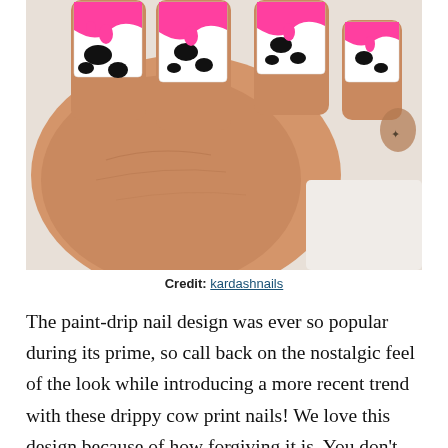[Figure (photo): Close-up photo of hands showing nail art with cow print pattern and pink paint-drip French tip design on white base]
Credit: kardashnails
The paint-drip nail design was ever so popular during its prime, so call back on the nostalgic feel of the look while introducing a more recent trend with these drippy cow print nails! We love this design because of how forgiving it is. You don't need to be super precise with your lines, because